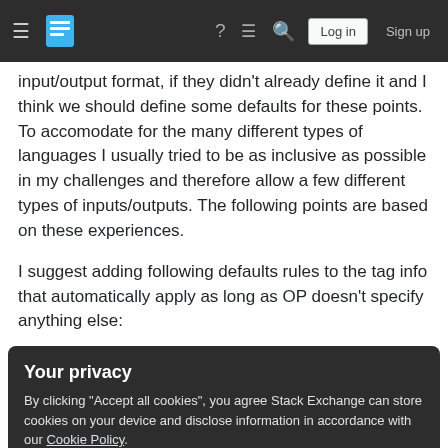Stack Exchange navigation bar with hamburger menu, logo, help, chat, search icons, Log in and Sign up buttons
input/output format, if they didn't already define it and I think we should define some defaults for these points. To accomodate for the many different types of languages I usually tried to be as inclusive as possible in my challenges and therefore allow a few different types of inputs/outputs. The following points are based on these experiences.
I suggest adding following defaults rules to the tag info that automatically apply as long as OP doesn't specify anything else:
Your privacy
By clicking "Accept all cookies", you agree Stack Exchange can store cookies on your device and disclose information in accordance with our Cookie Policy.
Accept all cookies   Customize settings
the following input/output methods: